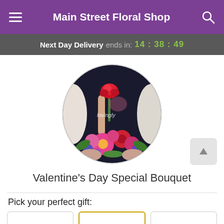Main Street Floral Shop
Next Day Delivery ends in: 14:38:49
[Figure (photo): Circular product photo of a person holding a red rose and a colorful bouquet with pink, red, and purple flowers, with 'lovingly' watermark overlay]
Valentine's Day Special Bouquet
Pick your perfect gift: